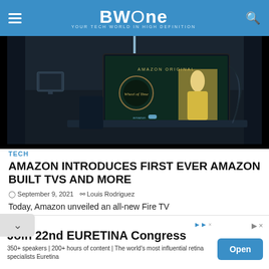BWOne — YOUR TECH WORLD IN HIGH DEFINITION
[Figure (photo): Amazon Fire TV screen showing 'Wheel of Time' Amazon Original series promo, displayed on a TV in a dark room setting]
TECH
AMAZON INTRODUCES FIRST EVER AMAZON BUILT TVS AND MORE
September 9, 2021   Louis Rodriguez
Today, Amazon unveiled an all-new Fire TV
[Figure (screenshot): Advertisement banner: Join 22nd EURETINA Congress. 350+ speakers | 200+ hours of content | The world's most influential retina specialists Euretina. Open button.]